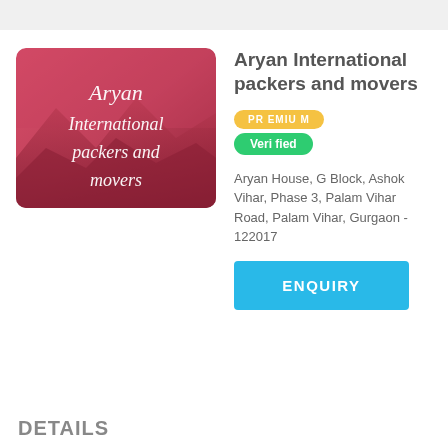[Figure (logo): Aryan International packers and movers logo — red/pink gradient background with cursive white text reading 'Aryan International packers and movers']
Aryan International packers and movers
PREMIUM
Verified
Aryan House, G Block, Ashok Vihar, Phase 3, Palam Vihar Road, Palam Vihar, Gurgaon - 122017
ENQUIRY
DETAILS